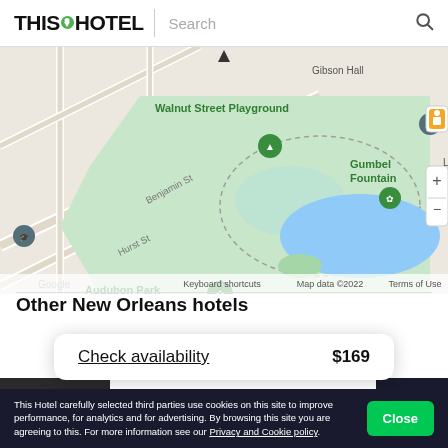THIS HOTEL | Search
[Figure (map): Google Map showing Audubon Park area in New Orleans with Walnut Street Playground, Gumbel Fountain, Audubon Park Meditation Garden, Benjamin St, Hurst St. Map controls (zoom in/out) and Street View person icon visible. Map data ©2022. Keyboard shortcuts and Terms of Use links visible.]
Other New Orleans hotels
Check availability   $169
[Figure (photo): Hotel room or building photo (dark/dimly lit) on the left side and a dark image with rating 4.7 on the right side]
This Hotel carefully selected third parties use cookies on this site to improve performance, for analytics and for advertising. By browsing this site you are agreeing to this. For more information see our Privacy and Cookie policy.